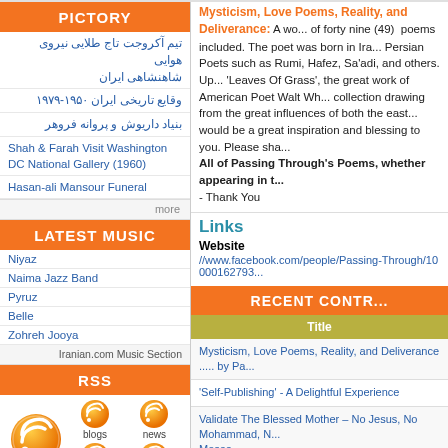PICTORY
تیم آکروجت تاج طلایی نیروی هوایی شاهنشاهی ایران
وقایع تاریخی ایران ۱۹۵۰-۱۹۷۹
بنیاد داریوش و پروانه فروهر
Shah & Farah Visit Washington DC National Gallery (1960)
Hasan-ali Mansour Funeral
more
LATEST MUSIC
Niyaz
Naima Jazz Band
Pyruz
Belle
Zohreh Jooya
Iranian.com Music Section
RSS
[Figure (infographic): RSS feed icons for front page, blogs, news, فارسی, بلاگهای فارسی]
more
SEARCH
Google
Mysticism, Love Poems, Reality, and Deliverance: A work of forty nine (49) poems included. The poet was born in Ira... Persian Poets such as Rumi, Hafez, Sa'adi, and others. Up... 'Leaves Of Grass', the great work of American Poet Walt Wh... collection drawing from the great influences of both the east... would be a great inspiration and blessing to you. Please sha... All of Passing Through's Poems, whether appearing in t... - Thank You
Links
Website
//www.facebook.com/people/Passing-Through/10000162793...
RECENT CONTRIBUTIONS
| Title |
| --- |
| Mysticism, Love Poems, Reality, and Deliverance ..... by Pa... |
| 'Self-Publishing' - A Delightful Experience |
| Validate The Blessed Mother – No Jesus, No Mohammad, No Moses |
| At The Feet Of Mowlana – Bless This Union, O' Lord, Yes M... |
| Loving The Earth – Our Mother, Yes My Sweet, Not Sweet Here |
| The Delusion Of Reality – Nothing There, Everything Here, Here And Now |
| Path Of Excellence – In Your Destiny, In Mine, And Indeed, ... |
| Uncertainty – The Very Essence Of Life, Yes My Sweet, An... |
| Torment Of Soul – Anguish Of Mind, Where Art Thou O' Lor... |